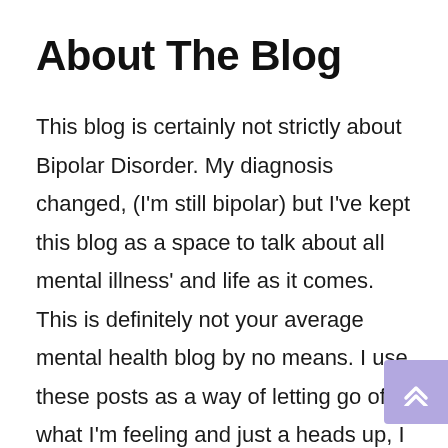About The Blog
This blog is certainly not strictly about Bipolar Disorder. My diagnosis changed, (I'm still bipolar) but I've kept this blog as a space to talk about all mental illness' and life as it comes. This is definitely not your average mental health blog by no means. I use these posts as a way of letting go of what I'm feeling and just a heads up, I also curse a lot (sorry). If you want to know where it all started (this is a